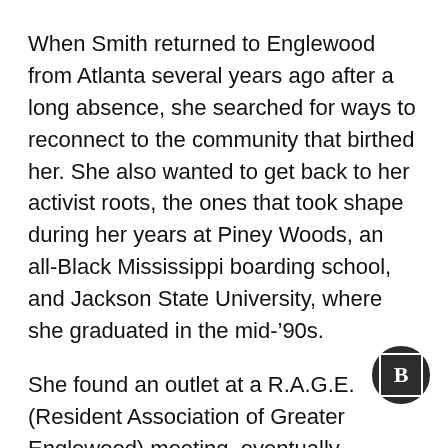When Smith returned to Englewood from Atlanta several years ago after a long absence, she searched for ways to reconnect to the community that birthed her. She also wanted to get back to her activist roots, the ones that took shape during her years at Piney Woods, an all-Black Mississippi boarding school, and Jackson State University, where she graduated in the mid-'90s.
She found an outlet at a R.A.G.E. (Resident Association of Greater Englewood) meeting, eventually working with TIME:2136, a public safety initiative under Teamwork Englewood. Smith has recorded five episodes of Tru Chat so far, aiming to record seven more in the next several weeks.